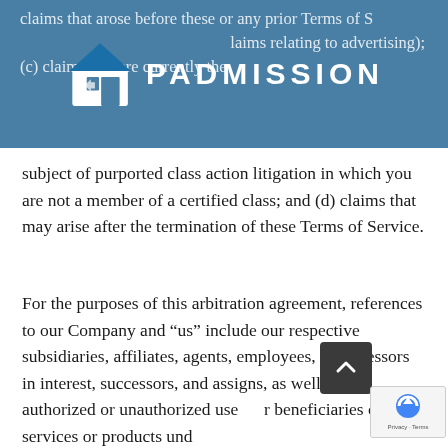claims that arose before these or any prior Terms of Service (including, without limitation, claims relating to advertising); (c) claims that are currently the
[Figure (logo): Padmission logo: blue house icon with 'PADMISSION' wordmark in white capital letters on blue banner background]
subject of purported class action litigation in which you are not a member of a certified class; and (d) claims that may arise after the termination of these Terms of Service.
For the purposes of this arbitration agreement, references to our Company and “us” include our respective subsidiaries, affiliates, agents, employees, predecessors in interest, successors, and assigns, as well as all authorized or unauthorized users or beneficiaries of services or products under these Terms of Use or any prior agreements between